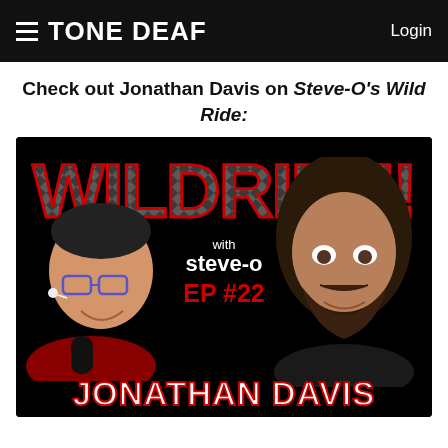TONE DEAF  Login
Check out Jonathan Davis on Steve-O's Wild Ride:
[Figure (photo): Thumbnail image for Steve-O's Wild Ride podcast, Episode #22 featuring Jonathan Davis. Black background with large 'WILD RIDE!' text in diamond-pattern style with red outlines, 'with steve-o' subtitle, 'EP #22' in red, 'JONATHAN DAVIS' in white with red outline. Steve-O on the left smiling with microphone, Jonathan Davis on the right with long hair and beard.]